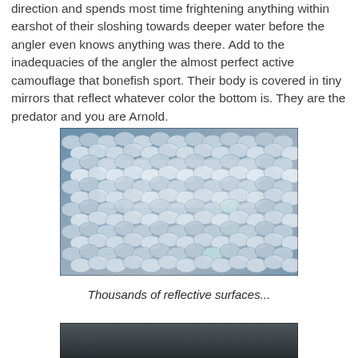direction and spends most time frightening anything within earshot of their sloshing towards deeper water before the angler even knows anything was there. Add to the inadequacies of the angler the almost perfect active camouflage that bonefish sport. Their body is covered in tiny mirrors that reflect whatever color the bottom is. They are the predator and you are Arnold.
[Figure (photo): Close-up photograph of bonefish scales showing highly reflective, mirror-like surface with blue and silver tones arranged in overlapping rows]
Thousands of reflective surfaces...
[Figure (photo): Partial photograph of another image, cropped at bottom of page]